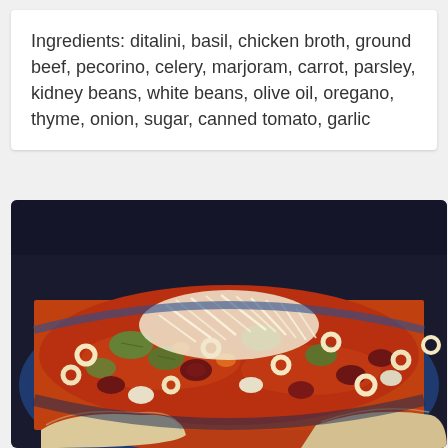Ingredients: ditalini, basil, chicken broth, ground beef, pecorino, celery, marjoram, carrot, parsley, kidney beans, white beans, olive oil, oregano, thyme, onion, sugar, canned tomato, garlic
[Figure (photo): A bowl of minestrone soup with ditalini pasta, kidney beans, white beans, celery, carrots in a tomato broth, topped with shredded pecorino cheese, served in a dark blue bowl with bread on the side]